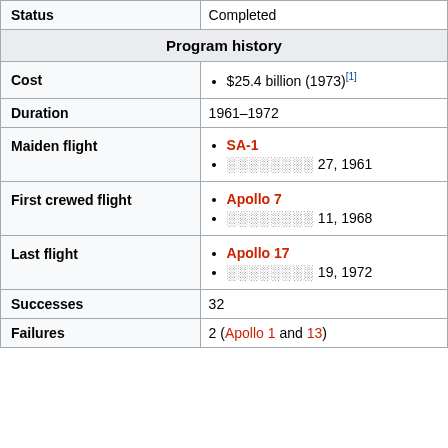| Status | Completed |
| Program history |  |
| Cost | $25.4 billion (1973)[1] |
| Duration | 1961–1972 |
| Maiden flight | SA-1 / ░░░░░░░░ 27, 1961 |
| First crewed flight | Apollo 7 / ░░░░░░░░ 11, 1968 |
| Last flight | Apollo 17 / ░░░░░░░░ 19, 1972 |
| Successes | 32 |
| Failures | 2 (Apollo 1 and 13) |